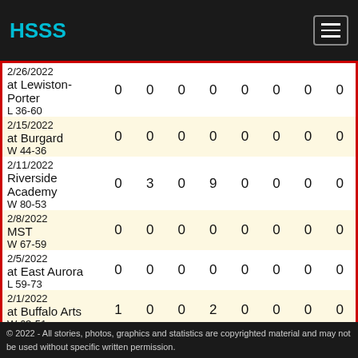HSSS
| Game Info |  |  |  |  |  |  |  |  |
| --- | --- | --- | --- | --- | --- | --- | --- | --- |
| 2/26/2022 at Lewiston-Porter L 36-60 | 0 | 0 | 0 | 0 | 0 | 0 | 0 | 0 |
| 2/15/2022 at Burgard W 44-36 | 0 | 0 | 0 | 0 | 0 | 0 | 0 | 0 |
| 2/11/2022 Riverside Academy W 80-53 | 0 | 3 | 0 | 9 | 0 | 0 | 0 | 0 |
| 2/8/2022 MST W 67-59 | 0 | 0 | 0 | 0 | 0 | 0 | 0 | 0 |
| 2/5/2022 at East Aurora L 59-73 | 0 | 0 | 0 | 0 | 0 | 0 | 0 | 0 |
| 2/1/2022 at Buffalo Arts W 63-51 | 1 | 0 | 0 | 2 | 0 | 0 | 0 | 0 |
© 2022 - All stories, photos, graphics and statistics are copyrighted material and may not be used without specific written permission.